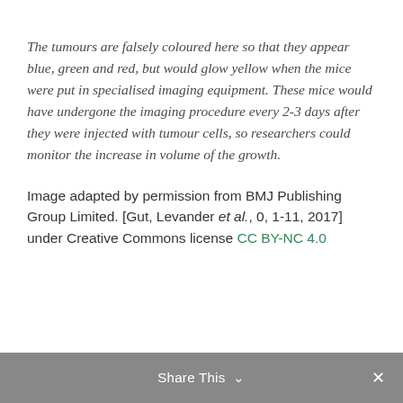The tumours are falsely coloured here so that they appear blue, green and red, but would glow yellow when the mice were put in specialised imaging equipment. These mice would have undergone the imaging procedure every 2-3 days after they were injected with tumour cells, so researchers could monitor the increase in volume of the growth.
Image adapted by permission from BMJ Publishing Group Limited. [Gut, Levander et al., 0, 1-11, 2017] under Creative Commons license CC BY-NC 4.0
Share This ∨  ✕